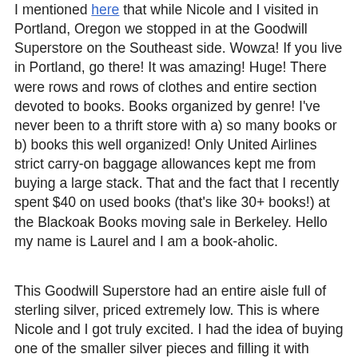I mentioned here that while Nicole and I visited in Portland, Oregon we stopped in at the Goodwill Superstore on the Southeast side. Wowza! If you live in Portland, go there! It was amazing! Huge! There were rows and rows of clothes and entire section devoted to books. Books organized by genre! I've never been to a thrift store with a) so many books or b) books this well organized! Only United Airlines strict carry-on baggage allowances kept me from buying a large stack. That and the fact that I recently spent $40 on used books (that's like 30+ books!) at the Blackoak Books moving sale in Berkeley. Hello my name is Laurel and I am a book-aholic.
This Goodwill Superstore had an entire aisle full of sterling silver, priced extremely low. This is where Nicole and I got truly excited. I had the idea of buying one of the smaller silver pieces and filling it with succulents. Because how adorable would that be? The answer is extremely adorable! We both decided to get